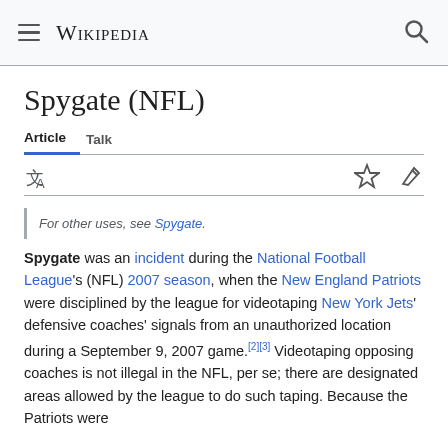Wikipedia
Spygate (NFL)
Article  Talk
For other uses, see Spygate.
Spygate was an incident during the National Football League's (NFL) 2007 season, when the New England Patriots were disciplined by the league for videotaping New York Jets' defensive coaches' signals from an unauthorized location during a September 9, 2007 game.[2][3] Videotaping opposing coaches is not illegal in the NFL, per se; there are designated areas allowed by the league to do such taping. Because the Patriots were